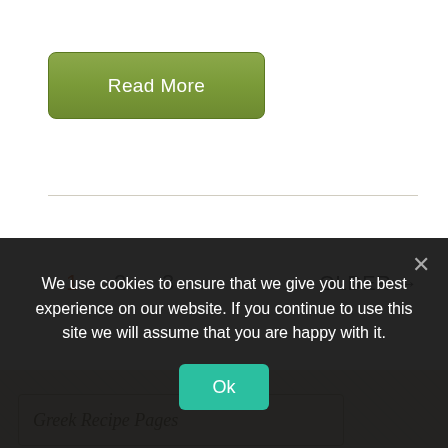[Figure (screenshot): Green 'Read More' button with rounded corners on white background]
1   2   3   OLDER →
Greek Recipe Pages
We use cookies to ensure that we give you the best experience on our website. If you continue to use this site we will assume that you are happy with it.
Ok